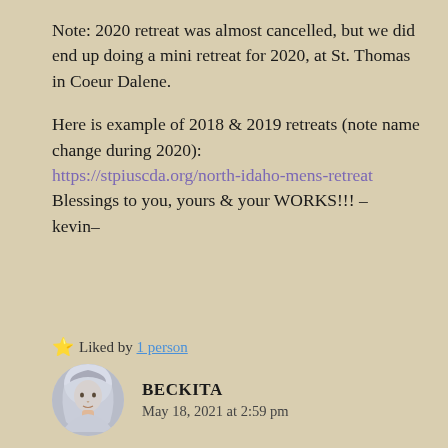Note: 2020 retreat was almost cancelled, but we did end up doing a mini retreat for 2020, at St. Thomas in Coeur Dalene.
Here is example of 2018 & 2019 retreats (note name change during 2020):
https://stpiuscda.org/north-idaho-mens-retreat
Blessings to you, yours & your WORKS!!! –kevin–
⭐ Liked by 1 person
BECKITA
May 18, 2021 at 2:59 pm